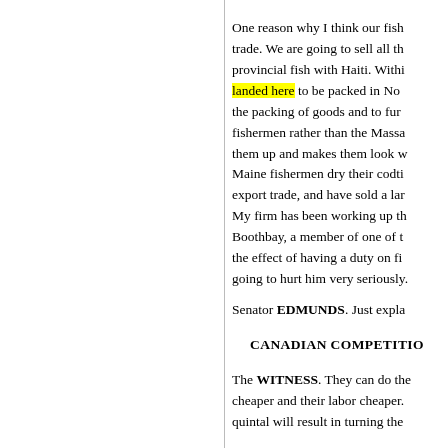One reason why I think our fish trade. We are going to sell all th provincial fish with Haiti. Withi landed here to be packed in No the packing of goods and to fur fishermen rather than the Massa them up and makes them look w Maine fishermen dry their codti export trade, and have sold a lar My firm has been working up th Boothbay, a member of one of t the effect of having a duty on fi going to hurt him very seriously
Senator EDMUNDS. Just expla
CANADIAN COMPETITIO
The WITNESS. They can do the cheaper and their labor cheaper. quintal will result in turning the